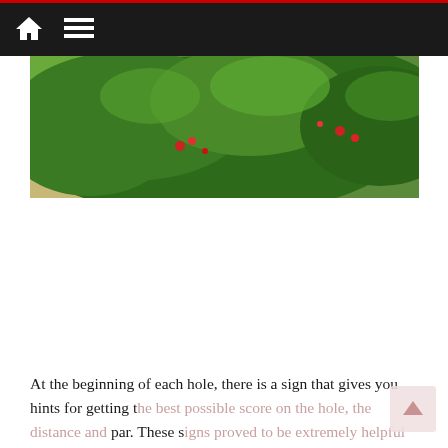[navigation bar with home icon and menu icon]
[Figure (photo): Photograph of lush green shrubs and bushes with red flowers along a golf course path, with a sandy/beige pathway visible on the left and green turf.]
At the beginning of each hole, there is a sign that gives you hints for getting the best possible score on the hole, the distance and par. These signs proved to be extremely helpful once I stopped